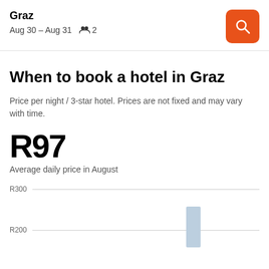Graz
Aug 30 – Aug 31  👥 2
When to book a hotel in Graz
Price per night / 3-star hotel. Prices are not fixed and may vary with time.
R97
Average daily price in August
[Figure (bar-chart): Partial bar chart showing hotel prices, with R300 and R200 gridlines visible and one bar partially visible near R200 level]